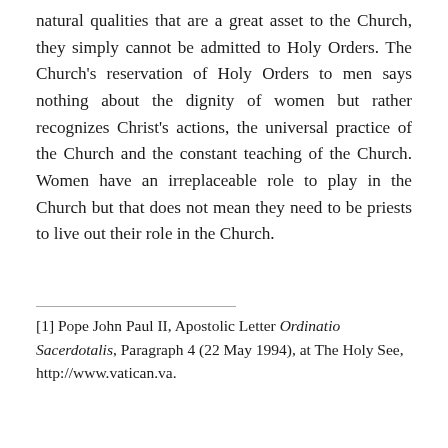natural qualities that are a great asset to the Church, they simply cannot be admitted to Holy Orders. The Church's reservation of Holy Orders to men says nothing about the dignity of women but rather recognizes Christ's actions, the universal practice of the Church and the constant teaching of the Church. Women have an irreplaceable role to play in the Church but that does not mean they need to be priests to live out their role in the Church.
[1] Pope John Paul II, Apostolic Letter Ordinatio Sacerdotalis, Paragraph 4 (22 May 1994), at The Holy See, http://www.vatican.va.